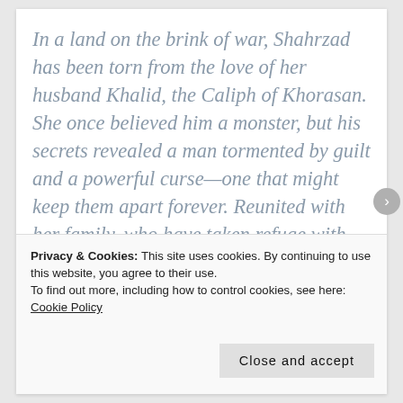In a land on the brink of war, Shahrzad has been torn from the love of her husband Khalid, the Caliph of Khorasan. She once believed him a monster, but his secrets revealed a man tormented by guilt and a powerful curse—one that might keep them apart forever. Reunited with her family, who have taken refuge with enemies of Khalid,
Privacy & Cookies: This site uses cookies. By continuing to use this website, you agree to their use.
To find out more, including how to control cookies, see here: Cookie Policy
Close and accept